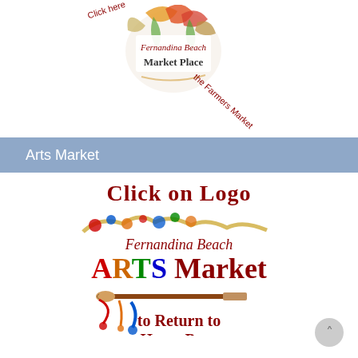[Figure (logo): Fernandina Beach Market Place logo with tropical flowers/leaves illustration, circular shape. Rotated text reads 'Click' and 'the Farmers Market' around the logo.]
Arts Market
[Figure (logo): Fernandina Beach Arts Market logo with colorful paint splash and paintbrush. Text reads 'Click on Logo', 'Fernandina Beach', 'ARTS Market', 'to Return to Home Page' in dark red bold serif font.]